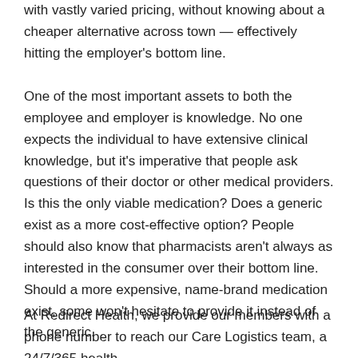with vastly varied pricing, without knowing about a cheaper alternative across town — effectively hitting the employer's bottom line.
One of the most important assets to both the employee and employer is knowledge. No one expects the individual to have extensive clinical knowledge, but it's imperative that people ask questions of their doctor or other medical providers. Is this the only viable medication? Does a generic exist as a more cost-effective option? People should also know that pharmacists aren't always as interested in the consumer over their bottom line. Should a more expensive, name-brand medication exist, some won't hesitate to provide it instead of the generic.
At Redirect Health, we provide our members with a phone number to reach our Care Logistics team, a 24/7/365 health concierge line. Should a member have a referral, but not know...